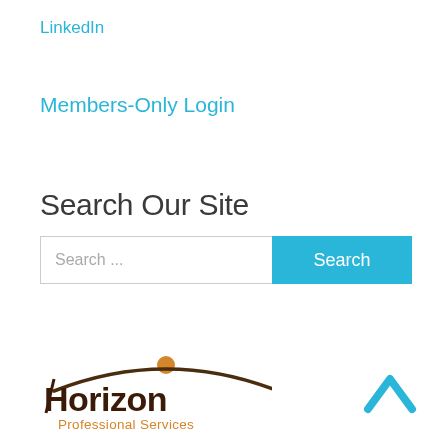LinkedIn
Members-Only Login
Search Our Site
[Figure (screenshot): Search input field with placeholder text 'Search ...' and a cyan 'Search' button]
[Figure (logo): Horizon Professional Services logo with brown text and orange sun arc graphic]
[Figure (other): Cyan upward-pointing chevron arrow icon for back-to-top navigation]